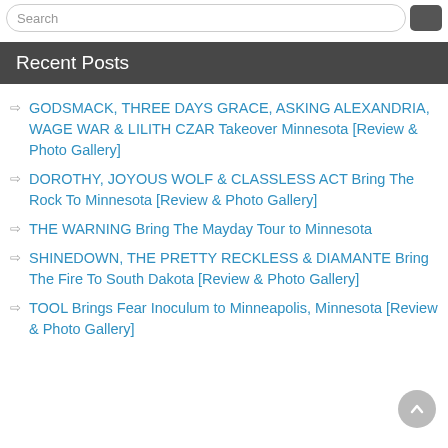Recent Posts
GODSMACK, THREE DAYS GRACE, ASKING ALEXANDRIA, WAGE WAR & LILITH CZAR Takeover Minnesota [Review & Photo Gallery]
DOROTHY, JOYOUS WOLF & CLASSLESS ACT Bring The Rock To Minnesota [Review & Photo Gallery]
THE WARNING Bring The Mayday Tour to Minnesota
SHINEDOWN, THE PRETTY RECKLESS & DIAMANTE Bring The Fire To South Dakota [Review & Photo Gallery]
TOOL Brings Fear Inoculum to Minneapolis, Minnesota [Review & Photo Gallery]